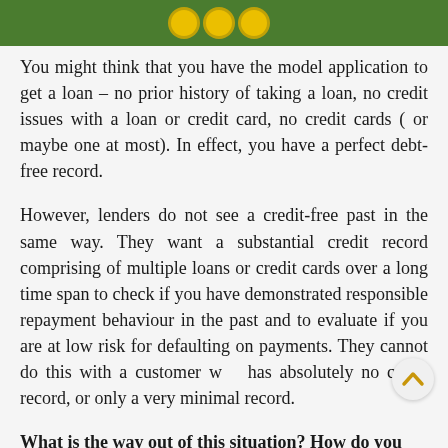[Figure (illustration): Green banner at top of page with decorative coin/money icons]
You might think that you have the model application to get a loan – no prior history of taking a loan, no credit issues with a loan or credit card, no credit cards ( or maybe one at most). In effect, you have a perfect debt-free record.
However, lenders do not see a credit-free past in the same way. They want a substantial credit record comprising of multiple loans or credit cards over a long time span to check if you have demonstrated responsible repayment behaviour in the past and to evaluate if you are at low risk for defaulting on payments. They cannot do this with a customer who has absolutely no credit record, or only a very minimal record.
What is the way out of this situation? How do you build a credit record when you are unwilling...